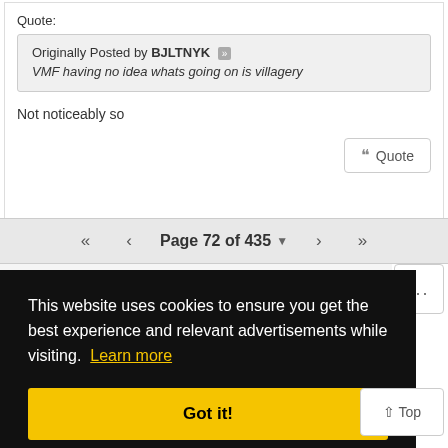Quote:
Originally Posted by BJLTNYK
VMF having no idea whats going on is villagery
Not noticeably so
Quote (button)
Page 72 of 435
This website uses cookies to ensure you get the best experience and relevant advertisements while visiting. Learn more
Got it!